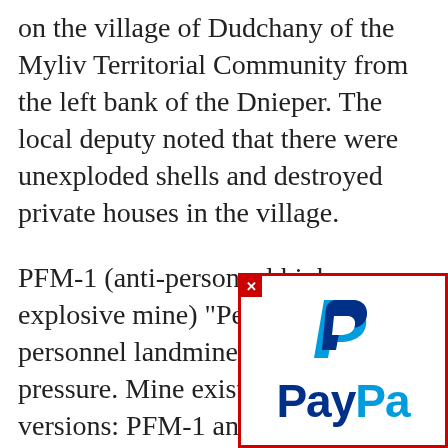on the village of Dudchany of the Myliv Territorial Community from the left bank of the Dnieper. The local deputy noted that there were unexploded shells and destroyed private houses in the village.
PFM-1 (anti-personnel high-explosive mine) "Petal" - an anti-personnel landmine of Soviet pressure. Mine exists in two versions: PFM-1 and PFM-1C. The first version of the mine does not have a self-destruct device, the second is equipped with a d... provides self-destruction of... by detonation after 1-40 hou... installation (self-destruct ti...
[Figure (logo): PayPal logo popup overlay with red border and close button, showing PayPal 'P' icon and wordmark in blue]